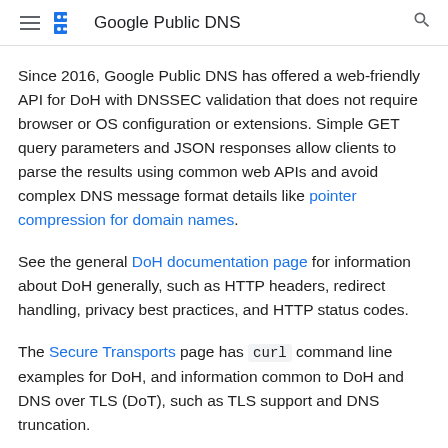Google Public DNS
Since 2016, Google Public DNS has offered a web-friendly API for DoH with DNSSEC validation that does not require browser or OS configuration or extensions. Simple GET query parameters and JSON responses allow clients to parse the results using common web APIs and avoid complex DNS message format details like pointer compression for domain names.
See the general DoH documentation page for information about DoH generally, such as HTTP headers, redirect handling, privacy best practices, and HTTP status codes.
The Secure Transports page has curl command line examples for DoH, and information common to DoH and DNS over TLS (DoT), such as TLS support and DNS truncation.